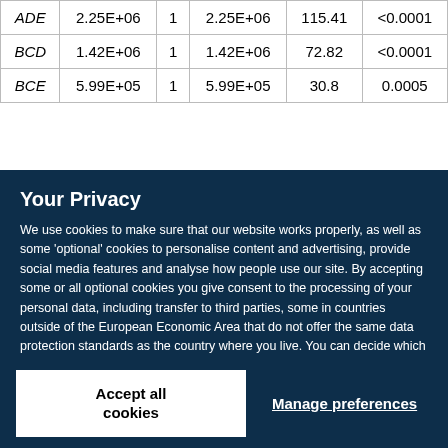| ADE | 2.25E+06 | 1 | 2.25E+06 | 115.41 | <0.0001 |
| BCD | 1.42E+06 | 1 | 1.42E+06 | 72.82 | <0.0001 |
| BCE | 5.99E+05 | 1 | 5.99E+05 | 30.8 | 0.0005 |
Your Privacy
We use cookies to make sure that our website works properly, as well as some 'optional' cookies to personalise content and advertising, provide social media features and analyse how people use our site. By accepting some or all optional cookies you give consent to the processing of your personal data, including transfer to third parties, some in countries outside of the European Economic Area that do not offer the same data protection standards as the country where you live. You can decide which optional cookies to accept by clicking on 'Manage Settings', where you can also find more information about how your personal data is processed. Further information can be found in our privacy policy.
Accept all cookies
Manage preferences